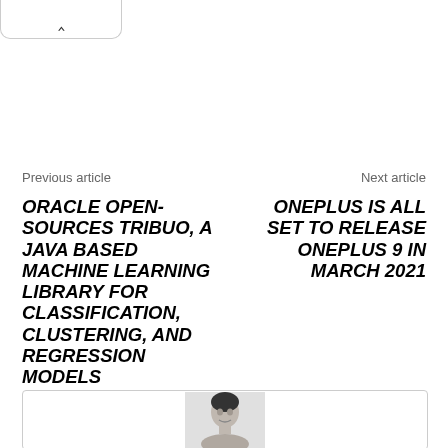^
Previous article
Next article
ORACLE OPEN-SOURCES TRIBUO, A JAVA BASED MACHINE LEARNING LIBRARY FOR CLASSIFICATION, CLUSTERING, AND REGRESSION MODELS
ONEPLUS IS ALL SET TO RELEASE ONEPLUS 9 IN MARCH 2021
[Figure (photo): Author profile photo, partially visible at bottom of page]